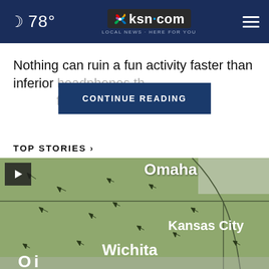78° | ksn.com LOCAL NEWS · HERE FOR YOU
Nothing can ruin a fun activity faster than inferior headphones th[at can't reproduce certain] frequencies or sounds
CONTINUE READING
TOP STORIES ›
[Figure (map): Weather map showing the Kansas/Nebraska/Missouri region with city labels: Omaha, Kansas City, Wichita. Small wind direction arrows scattered across the map. Dark map lines showing state borders and rivers on a green-toned background.]